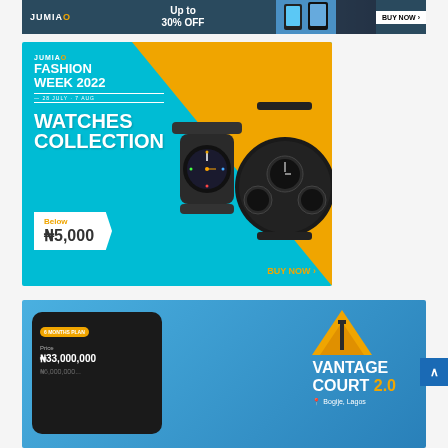[Figure (infographic): Jumia banner ad: 'Up to 30% OFF' with phone images and 'BUY NOW' button on dark teal background]
[Figure (infographic): Jumia Fashion Week 2022 banner: Watches Collection, 28 July - 7 Aug, Below ₦5,000, BUY NOW. Teal and orange background with watch product images.]
[Figure (infographic): Vantage Court 2.0 real estate ad: 6 Months Plan, Price ₦33,000,000, located in Bogije, Lagos. Blue background with phone app mockup and gold triangle logo.]